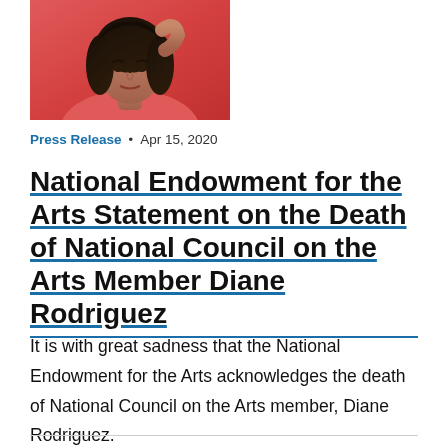[Figure (photo): Headshot photo of Diane Rodriguez, a woman with dark hair, wearing a coral/red jacket, photographed against a light background. Only the upper portion of the photo is visible.]
Press Release • Apr 15, 2020
National Endowment for the Arts Statement on the Death of National Council on the Arts Member Diane Rodriguez
It is with great sadness that the National Endowment for the Arts acknowledges the death of National Council on the Arts member, Diane Rodriguez.